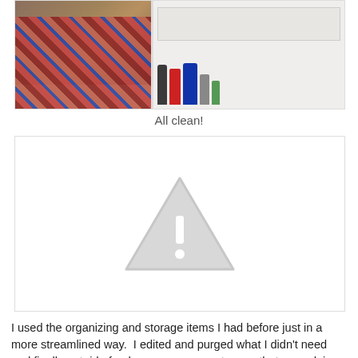[Figure (photo): Photo of an organized under-sink cabinet area showing a colorful patterned rug on wood floor and cleaning supplies/storage items inside the cabinet]
All clean!
[Figure (photo): Broken/missing image placeholder showing a grey triangle with exclamation mark warning icon on white background]
I used the organizing and storage items I had before just in a more streamlined way.  I edited and purged what I didn't need and finally got rid of a dozen or more nasty rags that were doing no one any good under there.  I also got rid of many bottles of almost empty cleaning supplies, most of